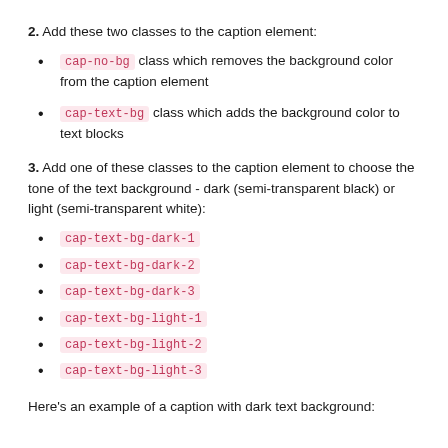2. Add these two classes to the caption element:
cap-no-bg class which removes the background color from the caption element
cap-text-bg class which adds the background color to text blocks
3. Add one of these classes to the caption element to choose the tone of the text background - dark (semi-transparent black) or light (semi-transparent white):
cap-text-bg-dark-1
cap-text-bg-dark-2
cap-text-bg-dark-3
cap-text-bg-light-1
cap-text-bg-light-2
cap-text-bg-light-3
Here's an example of a caption with dark text background: